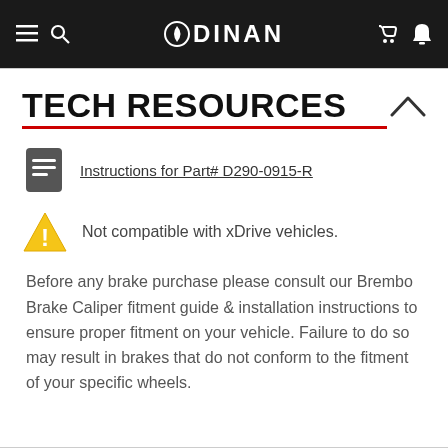DINAN — navigation bar with logo, hamburger menu, search, phone, and cart icons
TECH RESOURCES
Instructions for Part# D290-0915-R
Not compatible with xDrive vehicles.
Before any brake purchase please consult our Brembo Brake Caliper fitment guide & installation instructions to ensure proper fitment on your vehicle. Failure to do so may result in brakes that do not conform to the fitment of your specific wheels.